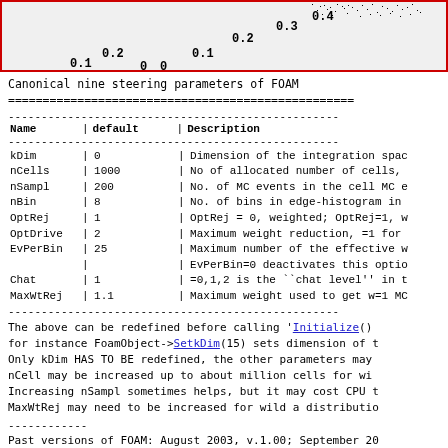[Figure (other): Top portion of a scatter plot or network diagram showing axis labels: 0.2, 0.1, 0, 0, 0.1, 0.2, 0.3, 0.4 with a dense cluster of points in the upper region.]
Canonical nine steering parameters of FOAM
==================================================
| Name | default | Description |
| --- | --- | --- |
| kDim | 0 | Dimension of the integration spac |
| nCells | 1000 | No of allocated number of cells, |
| nSampl | 200 | No. of MC events in the cell MC e |
| nBin | 8 | No. of bins in edge-histogram in |
| OptRej | 1 | OptRej = 0, weighted; OptRej=1, w |
| OptDrive | 2 | Maximum weight reduction, =1 for |
| EvPerBin | 25 | Maximum number of the effective w |
|  |  | EvPerBin=0 deactivates this optio |
| Chat | 1 | =0,1,2 is the ``chat level'' in t |
| MaxWtRej | 1.1 | Maximum weight used to get w=1 MC |
The above can be redefined before calling 'Initialize()
for instance FoamObject->SetkDim(15) sets dimension of t
Only kDim HAS TO BE redefined, the other parameters may
nCell may be increased up to about million cells for wi
Increasing nSampl sometimes helps, but it may cost CPU t
MaxWtRej may need to be increased for wild a distributio
Past versions of FOAM: August 2003, v.1.00; September 20
Adopted starting from FOAM-2.06 by P. Sawicki